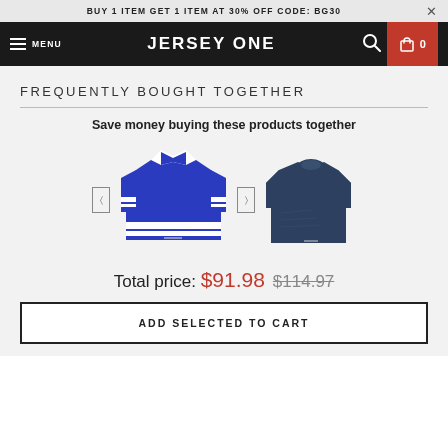BUY 1 ITEM GET 1 ITEM AT 30% OFF CODE: BG30
MENU  JERSEY ONE  [search] [cart] 0
FREQUENTLY BOUGHT TOGETHER
Save money buying these products together
[Figure (photo): Blue hockey jersey and navy blue t-shirt shown side by side with navigation arrows]
Total price: $91.98  $114.97
ADD SELECTED TO CART